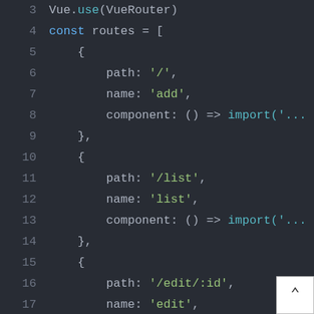[Figure (screenshot): Code editor screenshot showing JavaScript/Vue Router code with line numbers 3-19. Dark theme editor with syntax highlighting. Code defines a routes array with three route objects for paths '/', '/list', and '/edit/:id', each with name and component (lazy-loaded via import()) properties.]